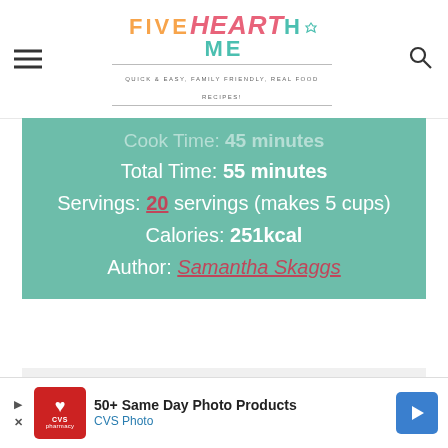FIVE heart HOME — Quick & Easy, Family Friendly, Real Food Recipes!
Cook Time: 45 minutes
Total Time: 55 minutes
Servings: 20 servings (makes 5 cups)
Calories: 251kcal
Author: Samantha Skaggs
[Figure (other): White/light grey empty content area below recipe info box]
50+ Same Day Photo Products — CVS Photo